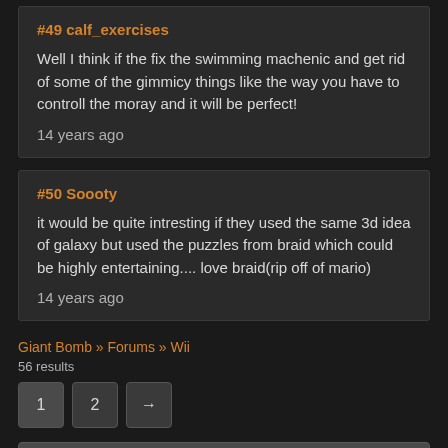#49 calf_exercises
Well I think if the fix the swimming machenic and get rid of some of the gimmicy things like the way you have to controll the moray and it will be perfect!
14 years ago
#50 Soooty
it would be quite intresting if they used the same 3d idea of galaxy but used the puzzles from braid which could be highly entertaining.... love braid(rip off of mario)
14 years ago
Giant Bomb » Forums » Wii
56 results
Browse Boards ▼